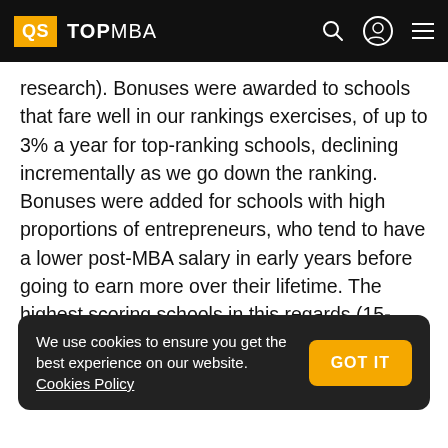QS TOPMBA
research). Bonuses were awarded to schools that fare well in our rankings exercises, of up to 3% a year for top-ranking schools, declining incrementally as we go down the ranking. Bonuses were added for schools with high proportions of entrepreneurs, who tend to have a lower post-MBA salary in early years before going to earn more over their lifetime. The highest scoring schools in this regards (15-21% entrepreneurs)
We use cookies to ensure you get the best experience on our website. Cookies Policy  GOT IT
which entrepreneurs account for 5% or fewer of the graduating class.
Industry-specific MBA salary figures and